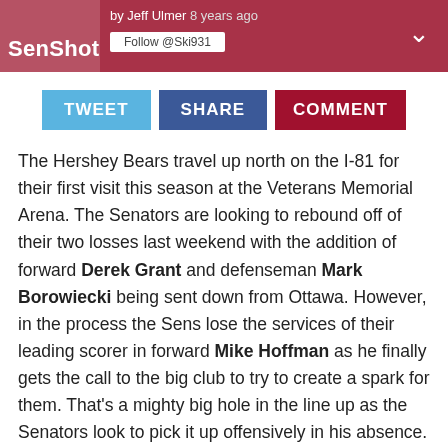SenShot — by Jeff Ulmer 8 years ago — Follow @Ski931
TWEET   SHARE   COMMENT
The Hershey Bears travel up north on the I-81 for their first visit this season at the Veterans Memorial Arena. The Senators are looking to rebound off of their two losses last weekend with the addition of forward Derek Grant and defenseman Mark Borowiecki being sent down from Ottawa. However, in the process the Sens lose the services of their leading scorer in forward Mike Hoffman as he finally gets the call to the big club to try to create a spark for them. That's a mighty big hole in the line up as the Senators look to pick it up offensively in his absence.